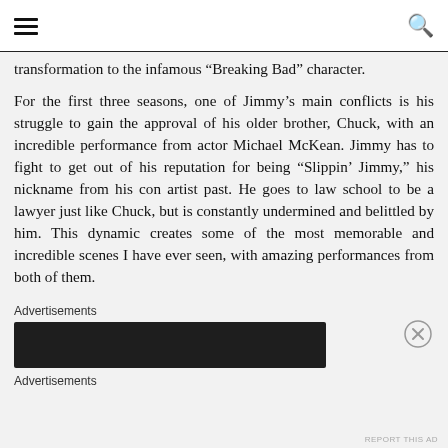[hamburger menu] [search icon]
transformation to the infamous “Breaking Bad” character.
For the first three seasons, one of Jimmy’s main conflicts is his struggle to gain the approval of his older brother, Chuck, with an incredible performance from actor Michael McKean. Jimmy has to fight to get out of his reputation for being “Slippin’ Jimmy,” his nickname from his con artist past. He goes to law school to be a lawyer just like Chuck, but is constantly undermined and belittled by him. This dynamic creates some of the most memorable and incredible scenes I have ever seen, with amazing performances from both of them.
Advertisements
[Figure (other): Dark advertisement banner block]
Advertisements
REPORT THIS AD